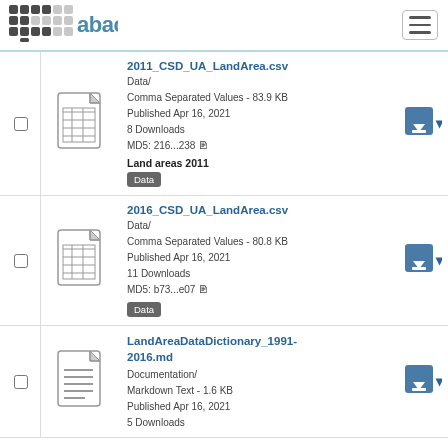abacus logo and navigation
2011_CSD_UA_LandArea.csv
Data/
Comma Separated Values - 83.9 KB
Published Apr 16, 2021
8 Downloads
MD5: 216...238
Land areas 2011
Data
2016_CSD_UA_LandArea.csv
Data/
Comma Separated Values - 80.8 KB
Published Apr 16, 2021
11 Downloads
MD5: b73...e07
Data
LandAreaDataDictionary_1991-2016.md
Documentation/
Markdown Text - 1.6 KB
Published Apr 16, 2021
5 Downloads